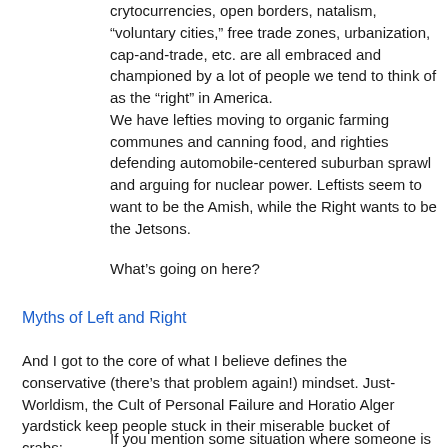crytocurrencies, open borders, natalism, “voluntary cities,” free trade zones, urbanization, cap-and-trade, etc. are all embraced and championed by a lot of people we tend to think of as the “right” in America.
We have lefties moving to organic farming communes and canning food, and righties defending automobile-centered suburban sprawl and arguing for nuclear power. Leftists seem to want to be the Amish, while the Right wants to be the Jetsons.
What’s going on here?
Myths of Left and Right
And I got to the core of what I believe defines the conservative (there’s that problem again!) mindset. Just-Worldism, the Cult of Personal Failure and Horatio Alger yardstick keep people stuck in their miserable bucket of crabs:
If you mention some situation where someone is